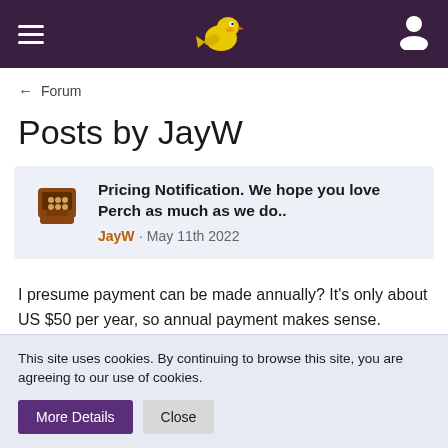Perch Forum — navigation header
← Forum
Posts by JayW
Pricing Notification. We hope you love Perch as much as we do.. JayW · May 11th 2022
I presume payment can be made annually? It's only about US $50 per year, so annual payment makes sense. Monthly payments are better suited to services that actually deliver something every month. Streaming services for example. But for just a license to use software that otherwise doesn't change very often, annual
This site uses cookies. By continuing to browse this site, you are agreeing to our use of cookies.